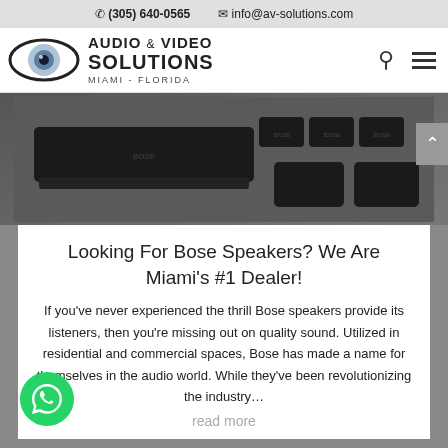☎ (305) 640-0565   ✉ info@av-solutions.com
[Figure (logo): Audio & Video Solutions Miami - Florida logo with eye graphic]
[Figure (photo): Bose home theater speaker system components including soundbar, subwoofer, and satellite speakers on dark background]
Looking For Bose Speakers? We Are Miami's #1 Dealer!
If you've never experienced the thrill Bose speakers provide its listeners, then you're missing out on quality sound. Utilized in residential and commercial spaces, Bose has made a name for themselves in the audio world. While they've been revolutionizing the industry…
read more